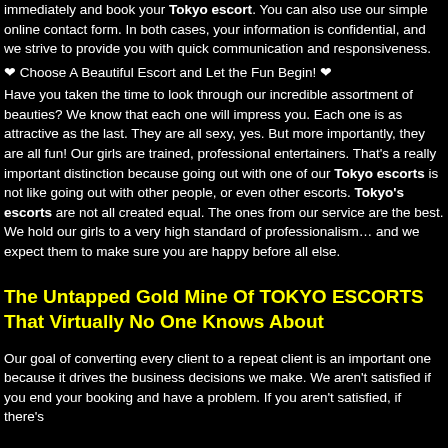immediately and book your Tokyo escort. You can also use our simple online contact form. In both cases, your information is confidential, and we strive to provide you with quick communication and responsiveness.
❤ Choose A Beautiful Escort and Let the Fun Begin! ❤
Have you taken the time to look through our incredible assortment of beauties? We know that each one will impress you. Each one is as attractive as the last. They are all sexy, yes. But more importantly, they are all fun! Our girls are trained, professional entertainers. That's a really important distinction because going out with one of our Tokyo escorts is not like going out with other people, or even other escorts. Tokyo's escorts are not all created equal. The ones from our service are the best. We hold our girls to a very high standard of professionalism… and we expect them to make sure you are happy before all else.
The Untapped Gold Mine Of TOKYO ESCORTS That Virtually No One Knows About
Our goal of converting every client to a repeat client is an important one because it drives the business decisions we make. We aren't satisfied if you end your booking and have a problem. If you aren't satisfied, if there's